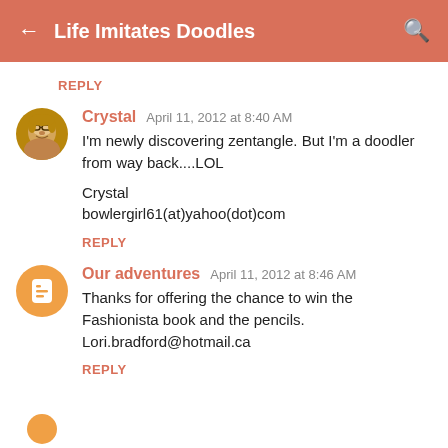← Life Imitates Doodles 🔍
REPLY
Crystal  April 11, 2012 at 8:40 AM
I'm newly discovering zentangle. But I'm a doodler from way back....LOL

Crystal
bowlergirl61(at)yahoo(dot)com
REPLY
Our adventures  April 11, 2012 at 8:46 AM
Thanks for offering the chance to win the Fashionista book and the pencils. Lori.bradford@hotmail.ca
REPLY